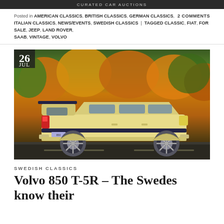CURATED CAR AUCTIONS
Posted in AMERICAN CLASSICS, BRITISH CLASSICS, GERMAN CLASSICS, ITALIAN CLASSICS, NEWS/EVENTS, SWEDISH CLASSICS | Tagged CLASSIC, FIAT, FOR SALE, JEEP, LAND ROVER, SAAB, VINTAGE, VOLVO   2 COMMENTS
[Figure (photo): A yellow/cream Volvo 850 wagon photographed from the rear-quarter, parked on a road with colourful autumn foliage in the background. A date badge in the upper-left corner reads '26 JUL'.]
SWEDISH CLASSICS
Volvo 850 T-5R – The Swedes know their